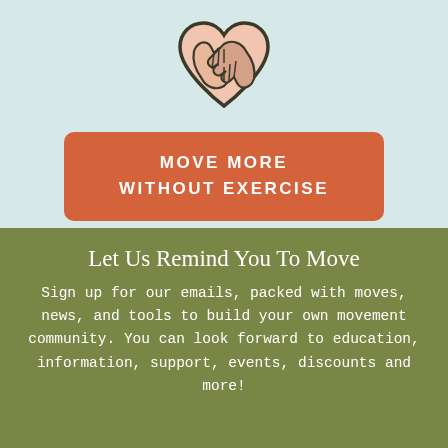[Figure (illustration): Heart-shaped icon formed by two hands shaking/clasping, drawn in outline style with a pale pink fill and dark green/charcoal outline, centered at the top of the light blue-green section.]
MOVE MORE WITHOUT EXERCISE
Let Us Remind You To Move
Sign up for our emails, packed with moves, news, and tools to build your own movement community. You can look forward to education, information, support, events, discounts and more!